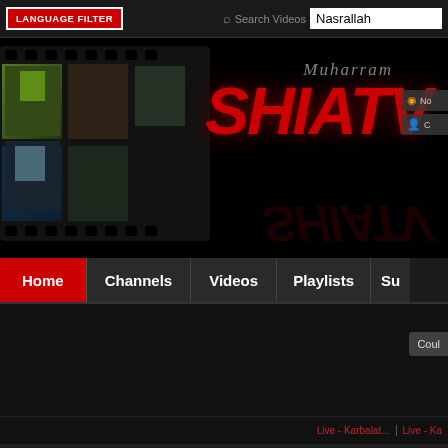[Figure (screenshot): ShiaTV website screenshot showing language filter button, search bar with 'Nasrallah' query, banner with filmstrip and SHIATV logo, navigation bar with Home/Channels/Videos/Playlists tabs, main content area with 'Could' button, video strip with 'Live - Karbalat...' links, and Search Result in All heading]
LANGUAGE FILTER
Search Videos Nasrallah
Muharram
SHIATV
No
C
Home
Channels
Videos
Playlists
Su
Coul
Live - Karbalat...
Live - Ka
Search Result in All